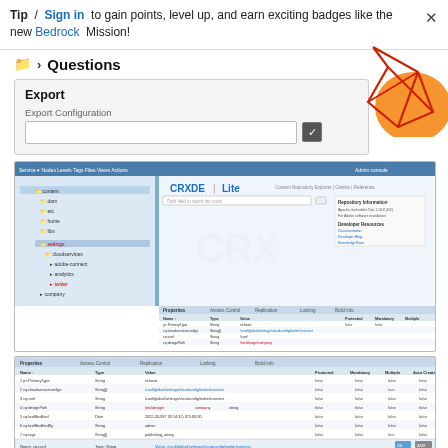Tip / Sign in to gain points, level up, and earn exciting badges like the new Bedrock Mission!
Questions
[Figure (screenshot): Decorative geometric red line and orange circle graphic in top-right corner]
[Figure (screenshot): Screenshot of an Export panel UI with Export Configuration label and checkbox]
[Figure (screenshot): Screenshot of CRXDE Lite interface showing a repository tree on the left and Properties panel at the bottom with columns: Name, Type, Value, Protected, Mandatory, Multiple, Auto Created]
[Figure (screenshot): Screenshot of a Properties table with rows showing Name, Type, Value, Protected, Mandatory, Multiple, Auto Created columns and several property entries]